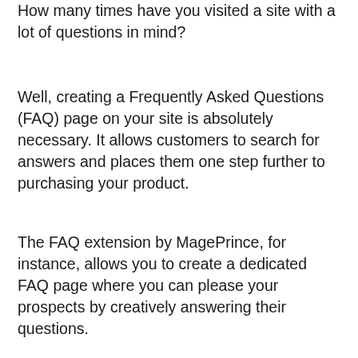How many times have you visited a site with a lot of questions in mind?
Well, creating a Frequently Asked Questions (FAQ) page on your site is absolutely necessary. It allows customers to search for answers and places them one step further to purchasing your product.
The FAQ extension by MagePrince, for instance, allows you to create a dedicated FAQ page where you can please your prospects by creatively answering their questions.